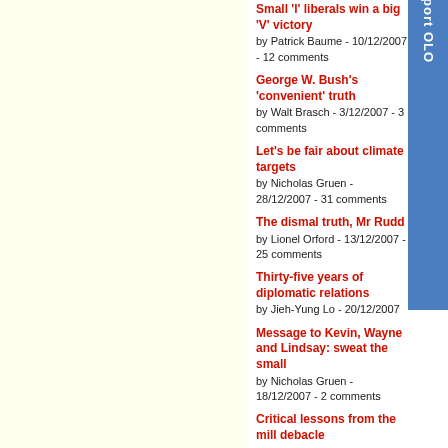Small 'l' liberals win a big 'V' victory
by Patrick Baume - 10/12/2007 - 12 comments
George W. Bush's 'convenient' truth
by Walt Brasch - 3/12/2007 - 3 comments
Let's be fair about climate targets
by Nicholas Gruen - 28/12/2007 - 31 comments
The dismal truth, Mr Rudd
by Lionel Orford - 13/12/2007 - 25 comments
Thirty-five years of diplomatic relations
by Jieh-Yung Lo - 20/12/2007
Message to Kevin, Wayne and Lindsay: sweat the small
by Nicholas Gruen - 18/12/2007 - 2 comments
Critical lessons from the mill debacle
by Mike Bolan - 21/12/2007 - 7 comments
Collective bargaining by small businesses - one year on
by Shae McCrystal - 20/12/2007 - 1 comment
Regional generosity needs explaining
by Scott Prasser - 7/12/2007
Seeing wood, trees and forests
by Mark Poynter - 21/12/2007 - 12 comments
Population is not a front page issue
by Valerie Yule - 17/12/2007 - 43 comments
Biofuels are not even vaguely a silver-coloured bullet